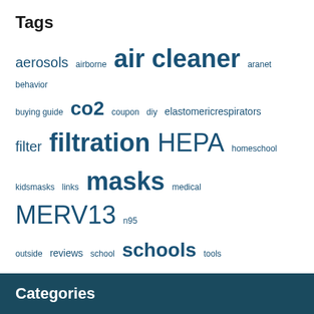Tags
[Figure (infographic): Tag cloud with words of varying sizes in blue: aerosols, airborne, air cleaner, aranet, behavior, buying guide, co2, coupon, diy, elastomericrespirators, filter, filtration, HEPA, homeschool, kidsmasks, links, masks, medical, MERV13, n95, outside, reviews, school, schools, tools, ventilation]
Categories